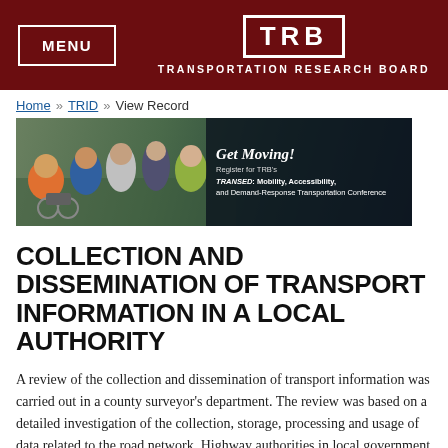MENU | TRB TRANSPORTATION RESEARCH BOARD
Home » TRID » View Record
[Figure (photo): Banner photo showing a group of people at a conference, including a person in a wheelchair, with text overlay: 'Get Moving! Register for TRB's TRANSED: Mobility, Accessibility, and Demand-Response Transportation Conference']
COLLECTION AND DISSEMINATION OF TRANSPORT INFORMATION IN A LOCAL AUTHORITY
A review of the collection and dissemination of transport information was carried out in a county surveyor's department. The review was based on a detailed investigation of the collection, storage, processing and usage of data related to the road network. Highway authorities in local government are responsible for the